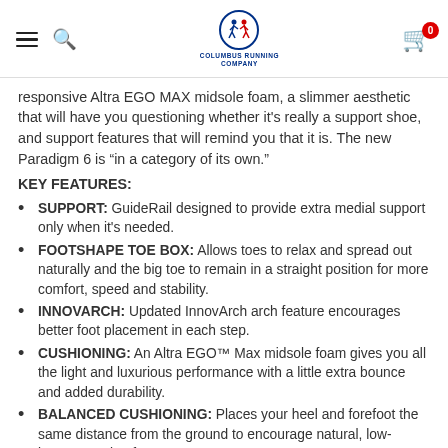Columbus Running Company - navigation header with hamburger menu, search icon, logo, and cart icon showing 0 items
responsive Altra EGO MAX midsole foam, a slimmer aesthetic that will have you questioning whether it's really a support shoe, and support features that will remind you that it is. The new Paradigm 6 is "in a category of its own."
KEY FEATURES:
SUPPORT: GuideRail designed to provide extra medial support only when it's needed.
FOOTSHAPE TOE BOX: Allows toes to relax and spread out naturally and the big toe to remain in a straight position for more comfort, speed and stability.
INNOVARCH: Updated InnovArch arch feature encourages better foot placement in each step.
CUSHIONING: An Altra EGO™ Max midsole foam gives you all the light and luxurious performance with a little extra bounce and added durability.
BALANCED CUSHIONING: Places your heel and forefoot the same distance from the ground to encourage natural, low-impact running form